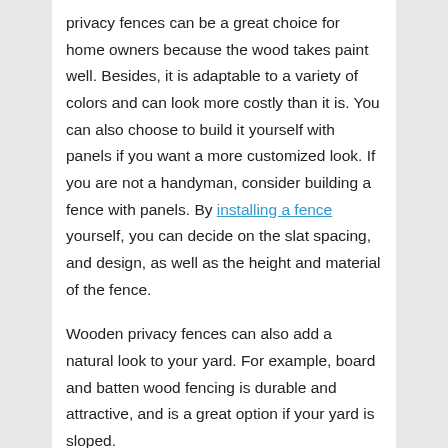privacy fences can be a great choice for home owners because the wood takes paint well. Besides, it is adaptable to a variety of colors and can look more costly than it is. You can also choose to build it yourself with panels if you want a more customized look. If you are not a handyman, consider building a fence with panels. By installing a fence yourself, you can decide on the slat spacing, and design, as well as the height and material of the fence.
Wooden privacy fences can also add a natural look to your yard. For example, board and batten wood fencing is durable and attractive, and is a great option if your yard is sloped.